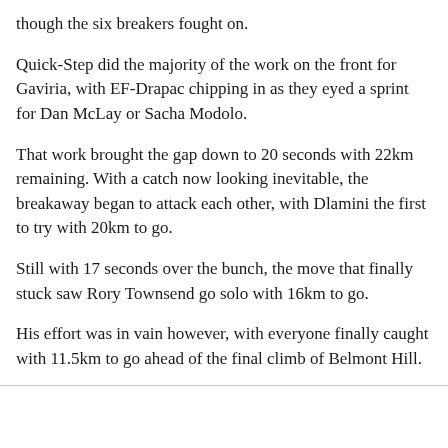though the six breakers fought on.
Quick-Step did the majority of the work on the front for Gaviria, with EF-Drapac chipping in as they eyed a sprint for Dan McLay or Sacha Modolo.
That work brought the gap down to 20 seconds with 22km remaining. With a catch now looking inevitable, the breakaway began to attack each other, with Dlamini the first to try with 20km to go.
Still with 17 seconds over the bunch, the move that finally stuck saw Rory Townsend go solo with 16km to go.
His effort was in vain however, with everyone finally caught with 11.5km to go ahead of the final climb of Belmont Hill.